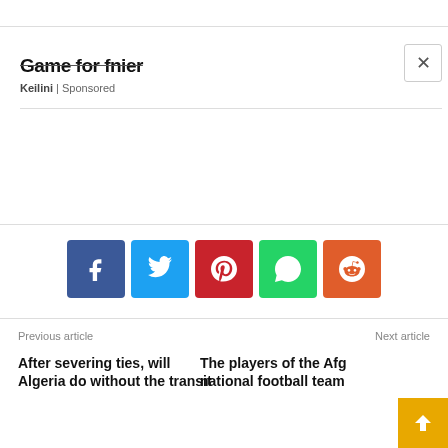Game for fnier
Keilini | Sponsored
[Figure (other): Advertisement image area (blank/white)]
[Figure (infographic): Social share buttons row: Facebook (blue), Twitter (light blue), Pinterest (red), WhatsApp (green), Reddit (orange)]
Previous article
Next article
After severing ties, will Algeria do without the transit
The players of the Afg national football team